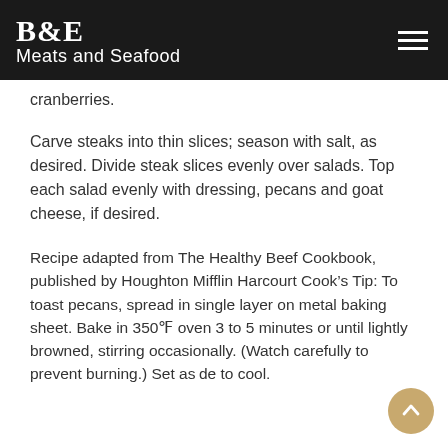B&E Meats and Seafood
cranberries.
Carve steaks into thin slices; season with salt, as desired. Divide steak slices evenly over salads. Top each salad evenly with dressing, pecans and goat cheese, if desired.
Recipe adapted from The Healthy Beef Cookbook, published by Houghton Mifflin Harcourt Cook’s Tip: To toast pecans, spread in single layer on metal baking sheet. Bake in 350°F oven 3 to 5 minutes or until lightly browned, stirring occasionally. (Watch carefully to prevent burning.) Set aside to cool.